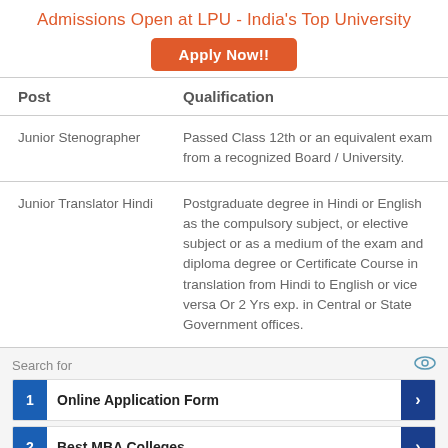Admissions Open at LPU - India's Top University
Apply Now!!
| Post | Qualification |
| --- | --- |
| Junior Stenographer | Passed Class 12th or an equivalent exam from a recognized Board / University. |
| Junior Translator Hindi | Postgraduate degree in Hindi or English as the compulsory subject, or elective subject or as a medium of the exam and diploma degree or Certificate Course in translation from Hindi to English or vice versa Or 2 Yrs exp. in Central or State Government offices. |
Search for
1 Online Application Form
2 Best MBA Colleges